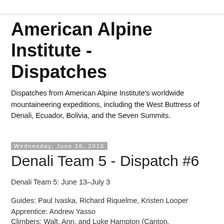American Alpine Institute - Dispatches
Dispatches from American Alpine Institute's worldwide mountaineering expeditions, including the West Buttress of Denali, Ecuador, Bolivia, and the Seven Summits.
Wednesday, June 16, 2010
Denali Team 5 - Dispatch #6
Denali Team 5: June 13–July 3
Guides: Paul Ivaska, Richard Riquelme, Kristen Looper
Apprentice: Andrew Yasso
Climbers: Walt, Ann, and Luke Hampton (Canton, Connecticut), Caitriona Strain (Burnfoot, Ireland), Brendan McDyer (Glenties, Ireland), Skye O'Donnell (Sydney,